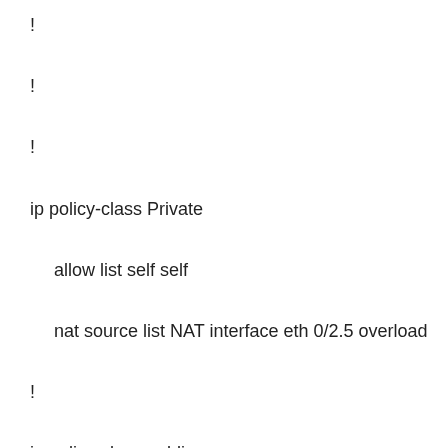!
!
!
ip policy-class Private
allow list self self
nat source list NAT interface eth 0/2.5 overload
!
ip policy-class public
allow list OutsideToInside self
!
!
ip route 0.0.0.0 0.0.0.0 208.122.124.XXX